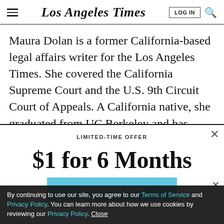Los Angeles Times
Maura Dolan is a former California-based legal affairs writer for the Los Angeles Times. She covered the California Supreme Court and the U.S. 9th Circuit Court of Appeals. A California native, she graduated from UC Berkeley and has worked in Washington and Los
LIMITED-TIME OFFER
$1 for 6 Months
SUBSCRIBE NOW
By continuing to use our site, you agree to our Terms of Service and Privacy Policy. You can learn more about how we use cookies by reviewing our Privacy Policy. Close